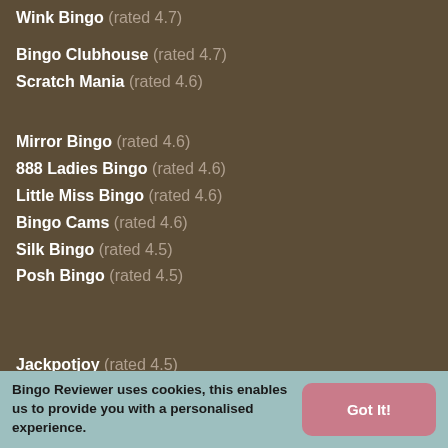Wink Bingo (rated 4.7)
Bingo Clubhouse (rated 4.7)
Scratch Mania (rated 4.6)
Mirror Bingo (rated 4.6)
888 Ladies Bingo (rated 4.6)
Little Miss Bingo (rated 4.6)
Bingo Cams (rated 4.6)
Silk Bingo (rated 4.5)
Posh Bingo (rated 4.5)
Jackpotjoy (rated 4.5)
Fancy Bingo (rated 4.5)
Sing Bingo (rated 4.5)
Jet Bingo (rated 4.5)
Bingo Reviewer uses cookies, this enables us to provide you with a personalised experience.